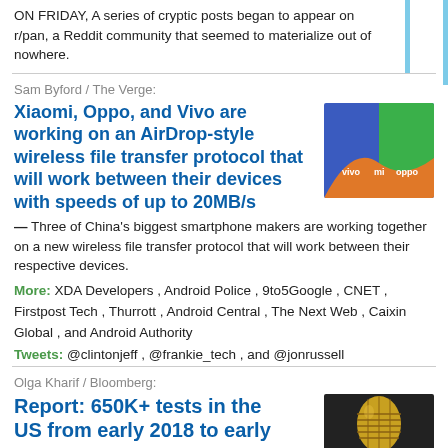ON FRIDAY, A series of cryptic posts began to appear on r/pan, a Reddit community that seemed to materialize out of nowhere.
Sam Byford / The Verge:
Xiaomi, Oppo, and Vivo are working on an AirDrop-style wireless file transfer protocol that will work between their devices with speeds of up to 20MB/s
[Figure (illustration): Colorful graphic showing vivo, mi, and oppo brand logos on green, blue, and orange background shapes]
— Three of China's biggest smartphone makers are working together on a new wireless file transfer protocol that will work between their respective devices.
More: XDA Developers, Android Police, 9to5Google, CNET, Firstpost Tech, Thurrott, Android Central, The Next Web, Caixin Global, and Android Authority
Tweets: @clintonjeff, @frankie_tech, and @jonrussell
Olga Kharif / Bloomberg:
Report: 650K+ tests in the US from early 2018 to early
[Figure (photo): Close-up photo of a golden microphone]